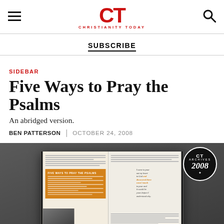CT CHRISTIANITY TODAY
SUBSCRIBE
SIDEBAR
Five Ways to Pray the Psalms
An abridged version.
BEN PATTERSON | OCTOBER 24, 2008
[Figure (photo): Open magazine spread showing an article titled 'Five Ways to Pray the Psalms' with orange sidebar, text columns, a photo of praying hands, and a pull quote reading 'I came to pour out my heart to God and discovered there wasn't much to pour and it would be years before I understood why.' CT Archives 2008 badge overlaid on dark grey background.]